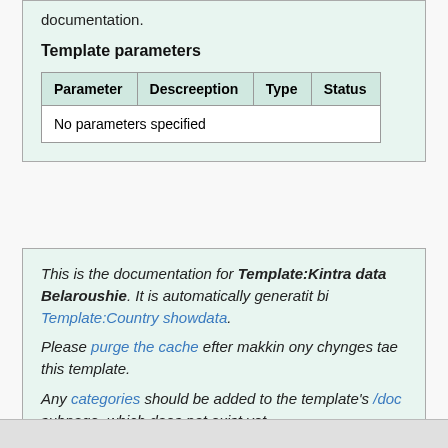documentation.
Template parameters
| Parameter | Descreeption | Type | Status |
| --- | --- | --- | --- |
| No parameters specified |  |  |  |
This is the documentation for Template:Kintra data Belaroushie. It is automatically generatit bi Template:Country showdata. Please purge the cache efter makkin ony chynges tae this template. Any categories should be added to the template's /doc subpage, which does not exist yet.